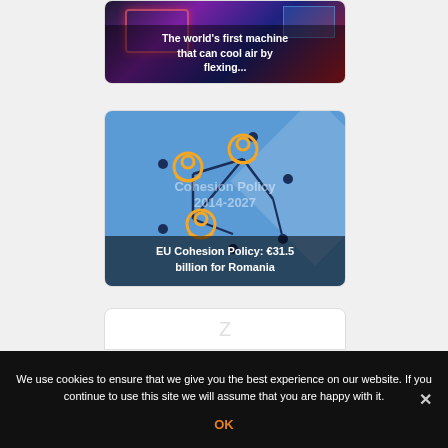[Figure (photo): Dark machinery image with red/blue lighting, showing text overlay 'The world’s first machine that can cool air by flexing...']
[Figure (illustration): EU Cohesion Policy graphic with network/people icons on blue background, text overlay 'EU Cohesion Policy: €31.5 billion for Romania']
[Figure (photo): Partial card at bottom showing a small icon, content cut off]
We use cookies to ensure that we give you the best experience on our website. If you continue to use this site we will assume that you are happy with it.
OK